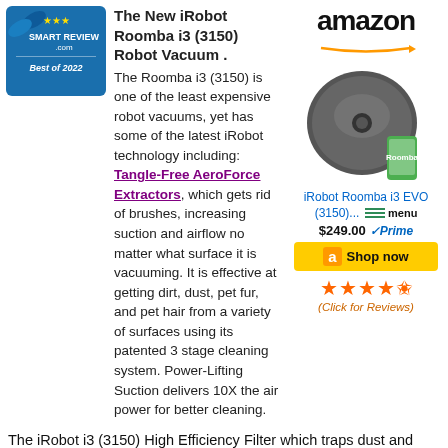[Figure (logo): Smart Review .com Best of 2022 badge with blue ribbon]
The New iRobot Roomba i3 (3150) Robot Vacuum . The Roomba i3 (3150) is one of the least expensive robot vacuums, yet has some of the latest iRobot technology including: Tangle-Free AeroForce Extractors, which gets rid of brushes, increasing suction and airflow no matter what surface it is vacuuming. It is effective at getting dirt, dust, pet fur, and pet hair from a variety of surfaces using its patented 3 stage cleaning system. Power-Lifting Suction delivers 10X the air power for better cleaning.
[Figure (logo): Amazon logo]
[Figure (photo): iRobot Roomba i3 EVO (3150) robot vacuum product photo]
iRobot Roomba i3 EVO (3150)...
$249.00 Prime
[Figure (other): Shop now button on Amazon]
[Figure (other): 4.5 star rating (Click for Reviews)]
The iRobot i3 (3150) High Efficiency Filter which traps dust and 99% of cat & dog allergens and will keep your air clean and smelling fresh. This model has built-in WiFi, so you can use the iRobot HOME App to control and schedule the Roomba i3 (3150) for cleaning. The i3 robot navigates & maps your home in neat rows using sophisticated floor tracking sensors to vacuum hardwood & carpet. Spinning side brush gets dirt close to walls and corners. This top-rated model has won our BEST of 2022 award.
...More...